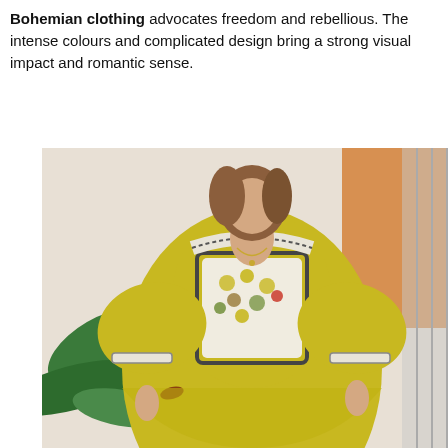Bohemian clothing advocates freedom and rebellious. The intense colours and complicated design bring a strong visual impact and romantic sense.
[Figure (photo): A woman wearing a yellow bohemian dress with white crochet trim and embroidered floral bib detail on the chest, flowing skirt, puffy 3/4 sleeves with decorative trim at cuffs. She stands in front of a plant and orange/neutral background.]